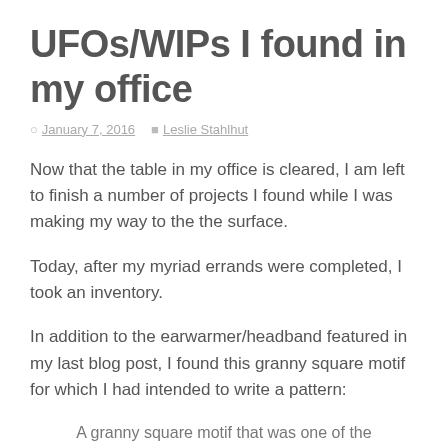UFOs/WIPs I found in my office
January 7, 2016   Leslie Stahlhut
Now that the table in my office is cleared, I am left to finish a number of projects I found while I was making my way to the the surface.
Today, after my myriad errands were completed, I took an inventory.
In addition to the earwarmer/headband featured in my last blog post, I found this granny square motif for which I had intended to write a pattern:
A granny square motif that was one of the